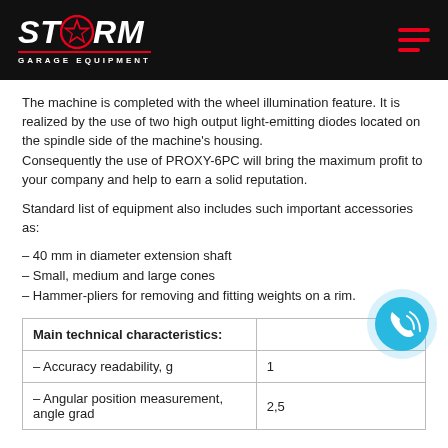STORM GARAGE EQUIPMENT
The machine is completed with the wheel illumination feature. It is realized by the use of two high output light-emitting diodes located on the spindle side of the machine's housing.
Consequently the use of PROXY-6PC will bring the maximum profit to your company and help to earn a solid reputation.
Standard list of equipment also includes such important accessories as:
– 40 mm in diameter extension shaft
– Small, medium and large cones
– Hammer-pliers for removing and fitting weights on a rim.
| Main technical characteristics: |  |
| --- | --- |
| – Accuracy readability, g | 1 |
| – Angular position measurement, angle grad | 2,5 |